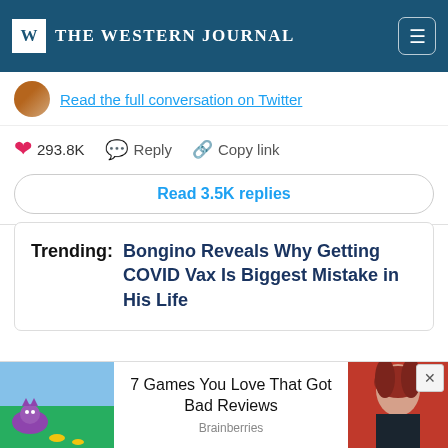[Figure (screenshot): The Western Journal website header with dark teal background, W logo box, site name 'THE WESTERN JOURNAL' in white, and hamburger menu icon on right]
Read the full conversation on Twitter
293.8K   Reply   Copy link
Read 3.5K replies
Trending:  Bongino Reveals Why Getting COVID Vax Is Biggest Mistake in His Life
The video, posted on Twitter on Tuesday, shows the
[Figure (screenshot): Advertisement overlay at bottom: left side shows a video game screenshot with a purple dragon character on green grass, center text reads '7 Games You Love That Got Bad Reviews' with 'Brainberries' subtitle, right side shows a photo of a young woman with red hair]